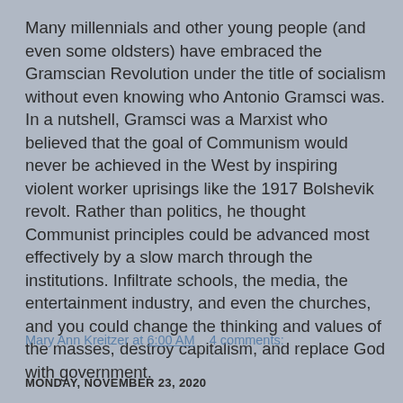Many millennials and other young people (and even some oldsters) have embraced the Gramscian Revolution under the title of socialism without even knowing who Antonio Gramsci was. In a nutshell, Gramsci was a Marxist who believed that the goal of Communism would never be achieved in the West by inspiring violent worker uprisings like the 1917 Bolshevik revolt. Rather than politics, he thought Communist principles could be advanced most effectively by a slow march through the institutions. Infiltrate schools, the media, the entertainment industry, and even the churches, and you could change the thinking and values of the masses, destroy capitalism, and replace God with government.
Mary Ann Kreitzer at 6:00 AM    4 comments:
MONDAY, NOVEMBER 23, 2020